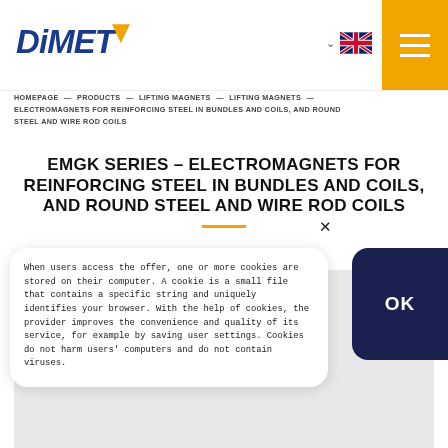[Figure (logo): DiMET company logo with blue italic text and yellow triangle]
DiMET website header with language selector (UK flag) and hamburger menu on orange background
HOMEPAGE — PRODUCTS — LIFTING MAGNETS — LIFTING MAGNETS — ELECTROMAGNETS FOR REINFORCING STEEL IN BUNDLES AND COILS, AND ROUND STEEL AND WIRE ROD COILS
EMGK SERIES – ELECTROMAGNETS FOR REINFORCING STEEL IN BUNDLES AND COILS, AND ROUND STEEL AND WIRE ROD COILS
When users access the offer, one or more cookies are stored on their computer. A cookie is a small file that contains a specific string and uniquely identifies your browser. With the help of cookies, the provider improves the convenience and quality of its service, for example by saving user settings. Cookies do not harm users' computers and do not contain viruses.